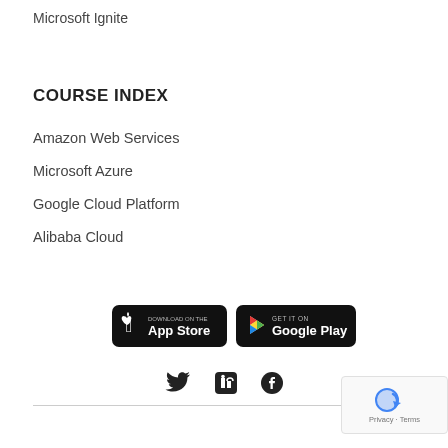Microsoft Ignite
COURSE INDEX
Amazon Web Services
Microsoft Azure
Google Cloud Platform
Alibaba Cloud
[Figure (logo): Download on the App Store button]
[Figure (logo): Get it on Google Play button]
[Figure (logo): Social media icons: Twitter, LinkedIn, Facebook]
Privacy · Terms